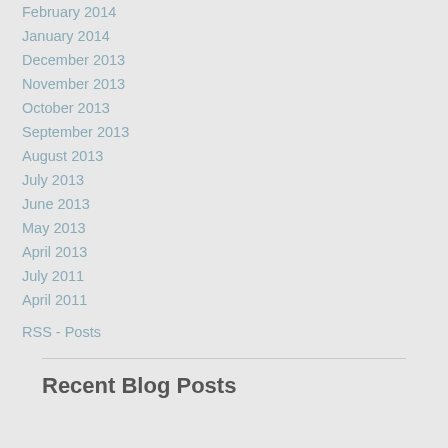February 2014
January 2014
December 2013
November 2013
October 2013
September 2013
August 2013
July 2013
June 2013
May 2013
April 2013
July 2011
April 2011
RSS - Posts
Recent Blog Posts